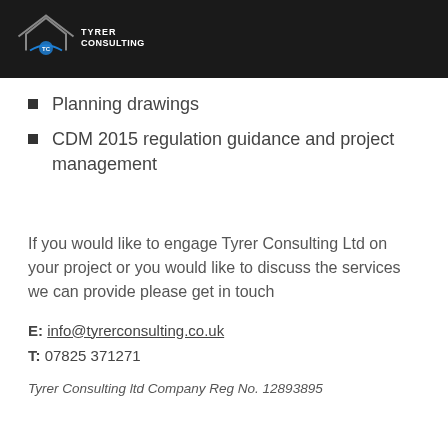[Figure (logo): Tyrer Consulting logo with house/roof icon and TC emblem in blue, white text on dark background]
Planning drawings
CDM 2015 regulation guidance and project management
If you would like to engage Tyrer Consulting Ltd on your project or you would like to discuss the services we can provide please get in touch
E: info@tyrerconsulting.co.uk
T: 07825 371271
Tyrer Consulting ltd Company Reg No. 12893895